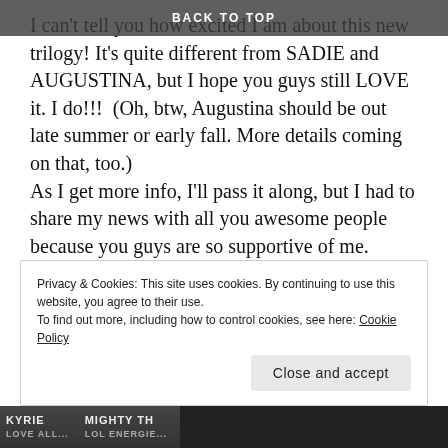BACK TO TOP
I can't tell you how excited I am about this new trilogy! It's quite different from SADIE and AUGUSTINA, but I hope you guys still LOVE it. I do!!!  (Oh, btw, Augustina should be out late summer or early fall. More details coming on that, too.)
As I get more info, I'll pass it along, but I had to share my news with all you awesome people because you guys are so supportive of me. You're the best cheer section ever. :)
(a little giddy over here, can you tell? If I had the ability, I'd be doing backflips.)
Privacy & Cookies: This site uses cookies. By continuing to use this website, you agree to their use.
To find out more, including how to control cookies, see here: Cookie Policy
Close and accept
[Figure (photo): Bottom strip showing partial book cover images with text 'KYRIE' and 'MIGHTY TH...']